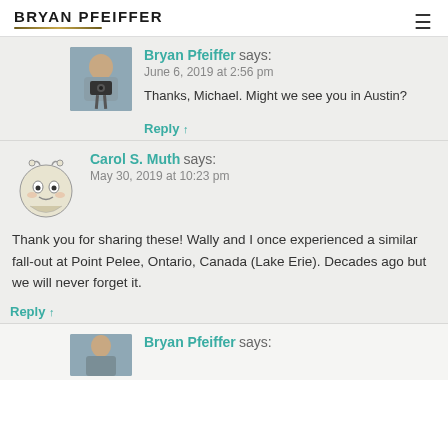BRYAN PFEIFFER
Bryan Pfeiffer says:
June 6, 2019 at 2:56 pm
Thanks, Michael. Might we see you in Austin?
Reply ↑
Carol S. Muth says:
May 30, 2019 at 10:23 pm
Thank you for sharing these! Wally and I once experienced a similar fall-out at Point Pelee, Ontario, Canada (Lake Erie). Decades ago but we will never forget it.
Reply ↑
Bryan Pfeiffer says: